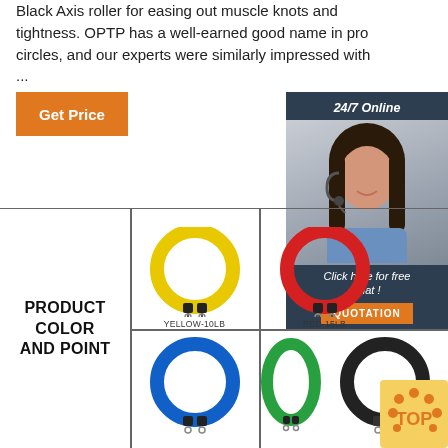Black Axis roller for easing out muscle knots and tightness. OPTP has a well-earned good name in pro circles, and our experts were similarly impressed with ...
Get Price
24/7 Online
Click here for free chat !
QUOTATION
[Figure (photo): Customer service representative woman with headset, smiling]
[Figure (infographic): Product color and point chart showing resistance bands: YELLOW-10LB, RED-15LB, blue, green, and black bands in a grid layout]
[Figure (logo): TOP logo with orange arc of dots on yellow background]